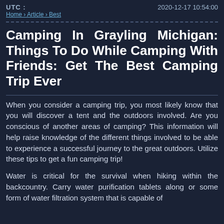UTC : 2020-12-17 10:54:00
Home › Article › Best
Camping In Grayling Michigan: Things To Do While Camping With Friends: Get The Best Camping Trip Ever
When you consider a camping trip, you most likely know that you will discover a tent and the outdoors involved. Are you conscious of another areas of camping? This information will help raise knowledge of the different things involved to be able to experience a successful journey to the great outdoors. Utilize these tips to get a fun camping trip!
Water is critical for the survival when hiking within the backcountry. Carry water purification tablets along or some form of water filtration system that is capable of